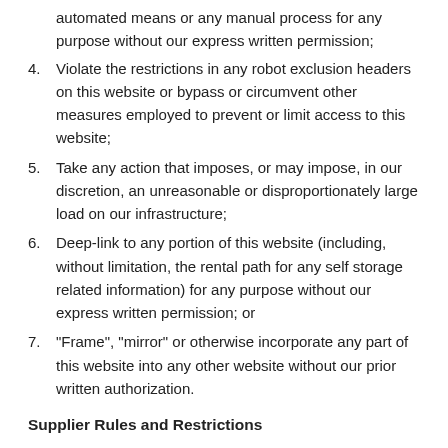automated means or any manual process for any purpose without our express written permission;
4. Violate the restrictions in any robot exclusion headers on this website or bypass or circumvent other measures employed to prevent or limit access to this website;
5. Take any action that imposes, or may impose, in our discretion, an unreasonable or disproportionately large load on our infrastructure;
6. Deep-link to any portion of this website (including, without limitation, the rental path for any self storage related information) for any purpose without our express written permission; or
7. "Frame", "mirror" or otherwise incorporate any part of this website into any other website without our prior written authorization.
Supplier Rules and Restrictions